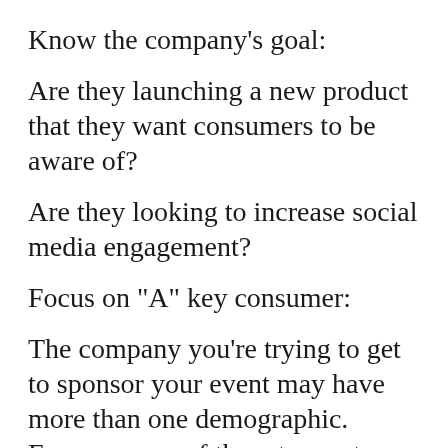Know the company's goal:
Are they launching a new product that they want consumers to be aware of?
Are they looking to increase social media engagement?
Focus on "A" key consumer:
The company you're trying to get to sponsor your event may have more than one demographic. Focus on one of them to create a campaign that is specifically for